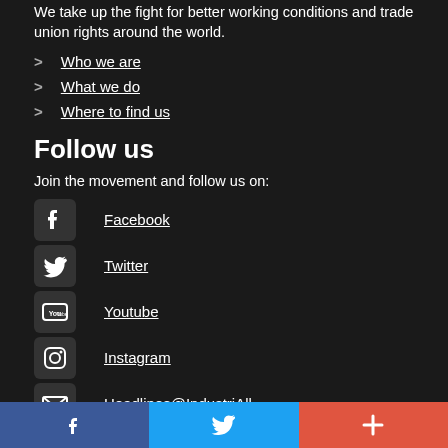We take up the fight for better working conditions and trade union rights around the world.
Who we are
What we do
Where to find us
Follow us
Join the movement and follow us on:
Facebook
Twitter
Youtube
Instagram
Headlines@IndustriALL
Facebook | Twitter | More